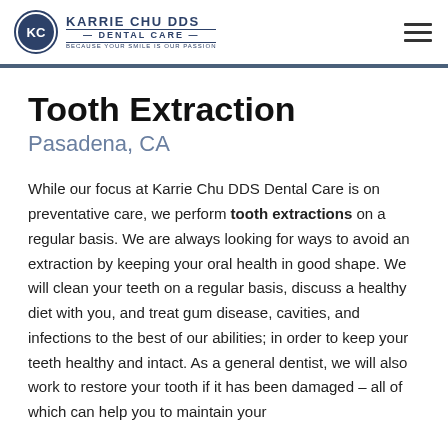KARRIE CHU DDS DENTAL CARE — BECAUSE YOUR SMILE IS OUR PASSION
Tooth Extraction
Pasadena, CA
While our focus at Karrie Chu DDS Dental Care is on preventative care, we perform tooth extractions on a regular basis. We are always looking for ways to avoid an extraction by keeping your oral health in good shape. We will clean your teeth on a regular basis, discuss a healthy diet with you, and treat gum disease, cavities, and infections to the best of our abilities; in order to keep your teeth healthy and intact. As a general dentist, we will also work to restore your tooth if it has been damaged – all of which can help you to maintain your